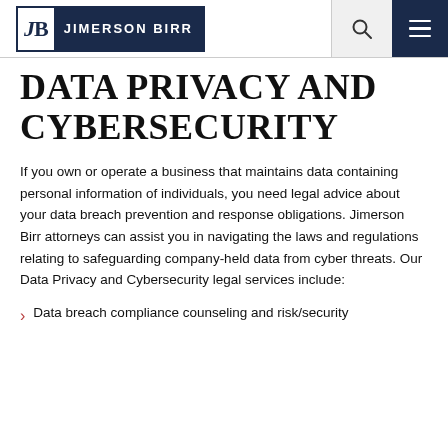JB JIMERSON BIRR
DATA PRIVACY AND CYBERSECURITY
If you own or operate a business that maintains data containing personal information of individuals, you need legal advice about your data breach prevention and response obligations. Jimerson Birr attorneys can assist you in navigating the laws and regulations relating to safeguarding company-held data from cyber threats. Our Data Privacy and Cybersecurity legal services include:
Data breach compliance counseling and risk/security